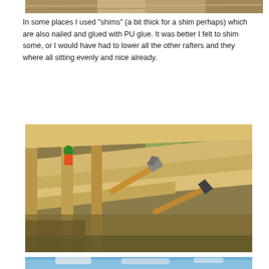[Figure (photo): Partial view of wooden roof rafter construction, cropped at top of page]
In some places I used "shims" (a bit thick for a shim perhaps) which are also nailed and glued with PU glue. It was better I felt to shim some, or I would have had to lower all the other rafters and they where all sitting evenly and nice already.
[Figure (photo): Photo of wooden roof frame construction with two hammers (one claw hammer with yellow handle, one axe/hatchet) resting on wooden rafters. PU glue bottle visible in background. Green trees visible in background.]
[Figure (photo): Partial view of completed roof structure against blue sky with clouds, cropped at bottom of page]